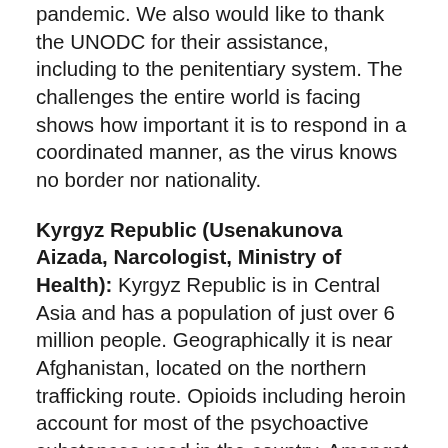pandemic. We also would like to thank the UNODC for their assistance, including to the penitentiary system. The challenges the entire world is facing shows how important it is to respond in a coordinated manner, as the virus knows no border nor nationality.
Kyrgyz Republic (Usenakunova Aizada, Narcologist, Ministry of Health): Kyrgyz Republic is in Central Asia and has a population of just over 6 million people. Geographically it is near Afghanistan, located on the northern trafficking route. Opioids including heroin account for most of the psychoactive substances used in the country. Amongst people who inject drugs, over the last 10 years, the number of people has